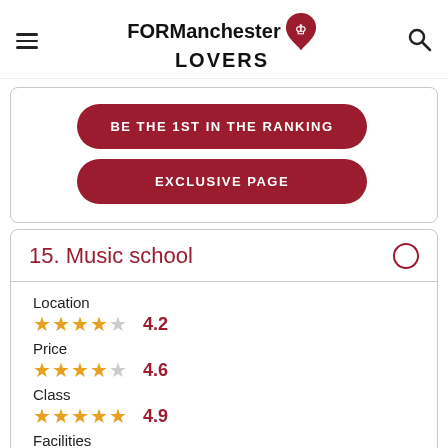FOR Manchester LOVERS
BE THE 1ST IN THE RANKING
EXCLUSIVE PAGE
15. Music school
Location 4.2
Price 4.6
Class 4.9
Facilities